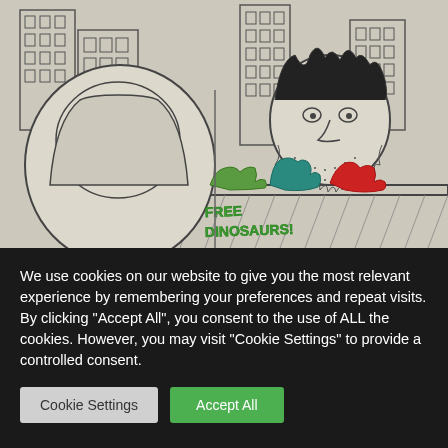[Figure (illustration): A hand-drawn pencil sketch showing two cartoon characters in an urban setting with buildings in the background. On the left is a round, sad-looking character with drooping eyes. On the right is a scraggly character with spiky hair and a beard, leaning over a table with small plastic dinosaur toys (green and red). Text on the table reads 'FREE DINOSAURS!' in stylized lettering.]
We use cookies on our website to give you the most relevant experience by remembering your preferences and repeat visits. By clicking "Accept All", you consent to the use of ALL the cookies. However, you may visit "Cookie Settings" to provide a controlled consent.